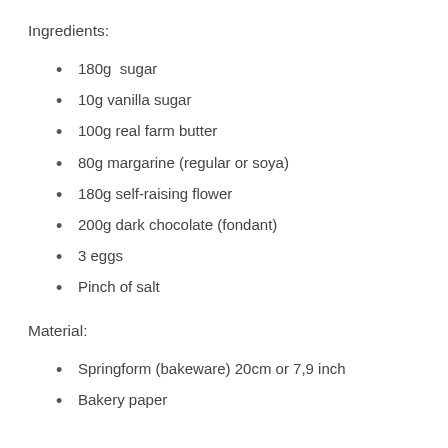Ingredients:
180g  sugar
10g vanilla sugar
100g real farm butter
80g margarine (regular or soya)
180g self-raising flower
200g dark chocolate (fondant)
3 eggs
Pinch of salt
Material:
Springform (bakeware) 20cm or 7,9 inch
Bakery paper